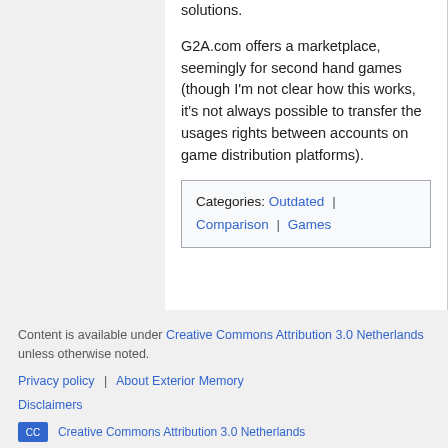solutions.
G2A.com offers a marketplace, seemingly for second hand games (though I'm not clear how this works, it's not always possible to transfer the usages rights between accounts on game distribution platforms).
Categories: Outdated | Comparison | Games
Content is available under Creative Commons Attribution 3.0 Netherlands unless otherwise noted.
Privacy policy | About Exterior Memory
Disclaimers
[Figure (logo): Creative Commons Attribution 3.0 Netherlands badge]
[Figure (logo): Powered by MediaWiki badge]